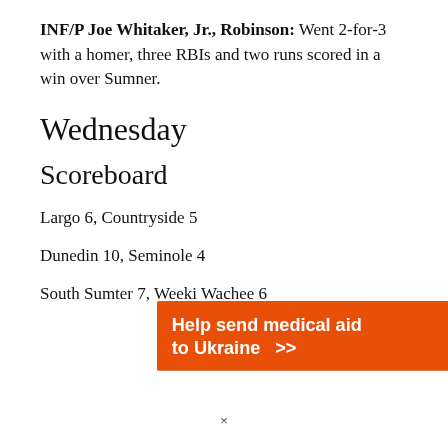INF/P Joe Whitaker, Jr., Robinson: Went 2-for-3 with a homer, three RBIs and two runs scored in a win over Sumner.
Wednesday
Scoreboard
Largo 6, Countryside 5
Dunedin 10, Seminole 4
South Sumter 7, Weeki Wachee 6
[Figure (infographic): Orange advertisement banner for Direct Relief: 'Help send medical aid to Ukraine >>' with Direct Relief logo]
×